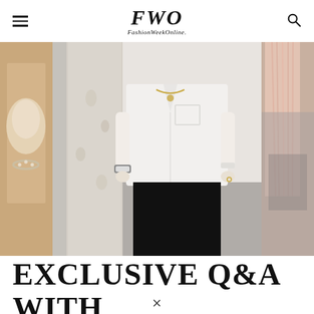FWO FashionWeekOnline
[Figure (photo): Three-panel image strip: left panel shows a beige/cream fabric detail with a pearl bracelet; center panel shows a woman in a white button-down shirt and black pants standing in front of hanging garments; right panel shows pink/blush fringe fabric detail.]
EXCLUSIVE Q&A WITH